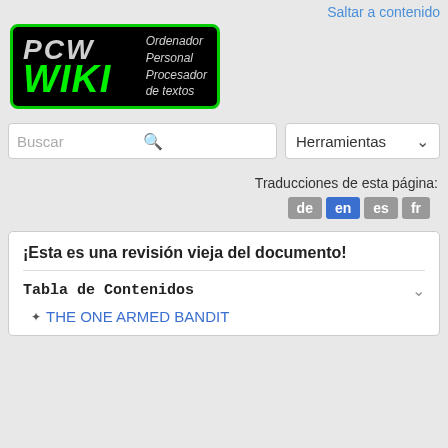[Figure (logo): PCW WIKI logo — black box with green border, 'PCW' in gray italic bold, 'WIKI' in green italic bold, and 'Ordenador Personal Procesador de textos' in gray italic on the right]
Saltar a contenido
Buscar
Herramientas
Traducciones de esta página:
de en es fr
¡Esta es una revisión vieja del documento!
Tabla de Contenidos
THE ONE ARMED BANDIT